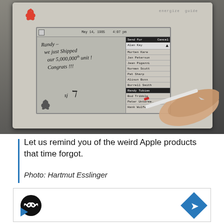[Figure (photo): Photograph of an early Apple Newton or Mac prototype device showing a handwritten note on screen dated May 14, 1985, reading 'Randy- We just shipped our 5,000,000th unit! Congrats!!! sj' with a stylus and contact list panel visible. A hand holding a stylus is seen at the right.]
Let us remind you of the weird Apple products that time forgot.
Photo: Hartmut Esslinger
[Figure (infographic): Advertisement or widget bar with a black circle containing an infinity/double-arrow symbol on the left, and a blue diamond navigation arrow icon on the right, with a small blue play button triangle below.]